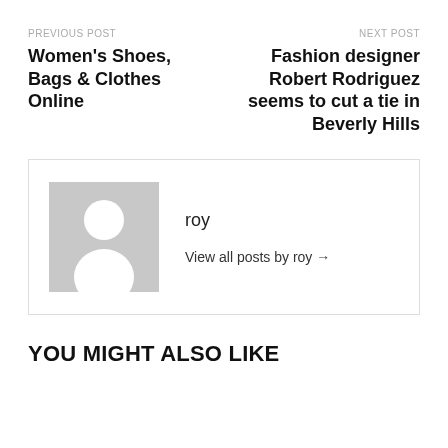PREVIOUS POST
Women's Shoes, Bags & Clothes Online
NEXT POST
Fashion designer Robert Rodriguez seems to cut a tie in Beverly Hills
[Figure (illustration): Author avatar placeholder: grey square with white silhouette of a person]
roy
View all posts by roy →
YOU MIGHT ALSO LIKE